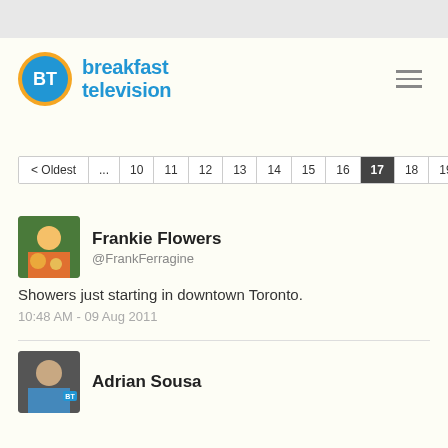[Figure (logo): Breakfast Television logo with BT circle and text]
< Oldest  ...  10  11  12  13  14  15  16  17  18  19  ...  Newest >
Frankie Flowers
@FrankFerragine
Showers just starting in downtown Toronto.
10:48 AM - 09 Aug 2011
Adrian Sousa